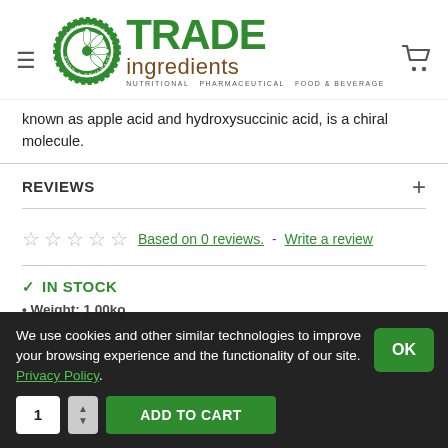[Figure (logo): Trade Ingredients logo with green badge/seal containing a flower/wheel design, green bold TRADE text and brown ingredients text, with tagline NUTRITIONAL, PHARMACEUTICAL, FOOD & BEVERAGE]
known as apple acid and hydroxysuccinic acid, is a chiral molecule.
REVIEWS
☆ ☆ ☆ ☆ ☆  Based on 0 reviews.  -  Write a review
✓ IN STOCK
• Weight: 1.00ko
We use cookies and other similar technologies to improve your browsing experience and the functionality of our site. Privacy Policy.
1  ADD TO CART